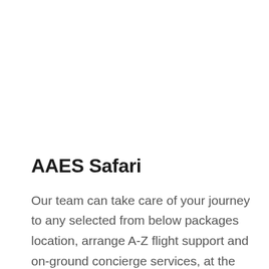AAES Safari
Our team can take care of your journey to any selected from below packages location, arrange A-Z flight support and on-ground concierge services, at the best rates and with